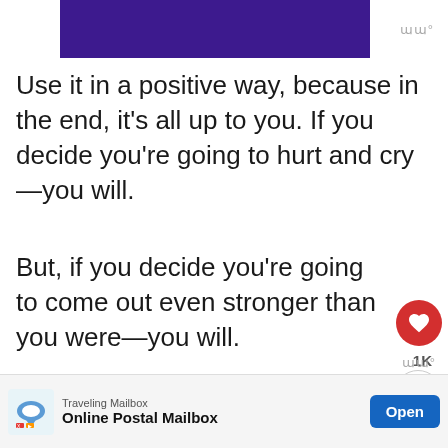[Figure (other): Purple/indigo banner image at top]
Use it in a positive way, because in the end, it's all up to you. If you decide you're going to hurt and cry—you will.
But, if you decide you're going to come out even stronger than you were—you will.
You leaving is not you giving just you getting a nice, clean start—a
[Figure (other): WHAT'S NEXT panel with thumbnail: If You're Not Happy, Give...]
[Figure (other): Advertisement banner: Traveling Mailbox - Online Postal Mailbox, Open button]